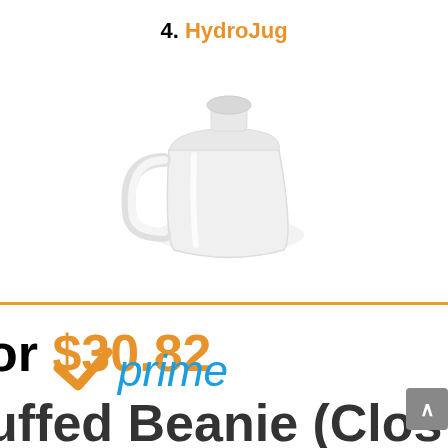4. HydroJug
[Figure (photo): White HydroJug water jug product photo on white background]
or $30.82
uffed Beanie (Clos...
[Figure (logo): Amazon Prime logo with orange checkmark and blue 'prime' text]